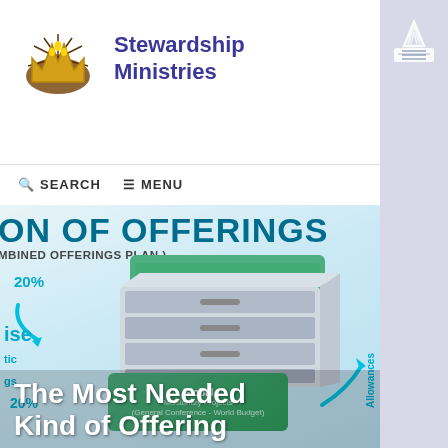[Figure (logo): Stewardship Ministries logo with crown of thorns and gold crown icon, text 'Stewardship Ministries' in purple/dark blue]
Stewardship Ministries
[Figure (logo): Seventh-day Adventist Church logo in sidebar top right]
SEARCH   MENU
[Figure (infographic): Infographic showing allocation of offerings with 20%, drawers/filing system, green card labeled Global Missionary Projects (General Conference - World Budget), arrows, 'Allowances' text, partial text 'ON OF OFFERINGS' and 'MBINED OFFERINGS PLAN']
The Most Needed Kind of Offering